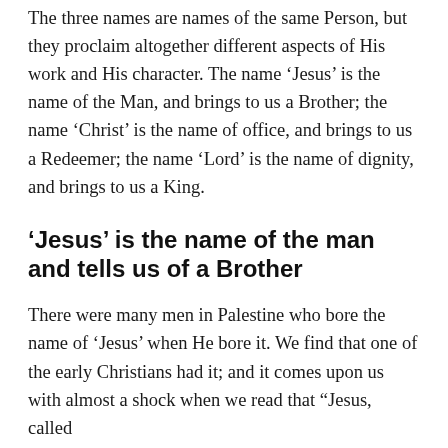The three names are names of the same Person, but they proclaim altogether different aspects of His work and His character. The name ‘Jesus’ is the name of the Man, and brings to us a Brother; the name ‘Christ’ is the name of office, and brings to us a Redeemer; the name ‘Lord’ is the name of dignity, and brings to us a King.
‘Jesus’ is the name of the man and tells us of a Brother
There were many men in Palestine who bore the name of ‘Jesus’ when He bore it. We find that one of the early Christians had it; and it comes upon us with almost a shock when we read that “Jesus, called